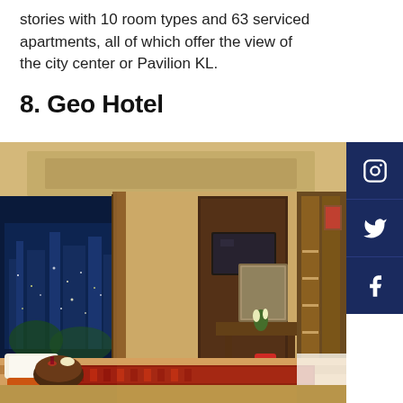stories with 10 room types and 63 serviced apartments, all of which offer the view of the city center or Pavilion KL.
8. Geo Hotel
[Figure (photo): Luxury hotel room interior with large windows showing night city view, ornate bed with red patterned runner, dressing table with mirror, TV unit, warm lighting, rich wood paneling and curtains.]
[Figure (infographic): Social media sidebar with Instagram, Twitter, and Facebook icons on dark navy blue background.]